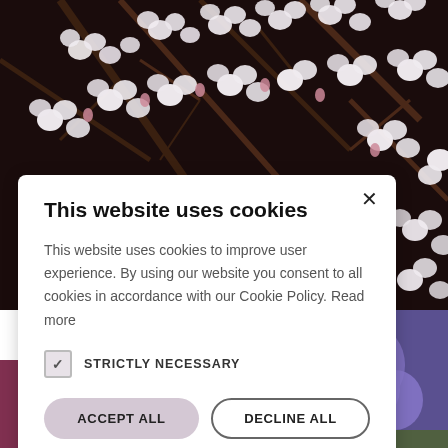[Figure (photo): Website screenshot showing a cookie consent modal dialog overlaying a background of flower photos (cherry blossoms at top, violet flower at right, pink flowers at bottom). The modal has a white background with title, body text, checkbox, and buttons.]
This website uses cookies
This website uses cookies to improve user experience. By using our website you consent to all cookies in accordance with our Cookie Policy. Read more
STRICTLY NECESSARY
ACCEPT ALL
DECLINE ALL
SHOW DETAILS